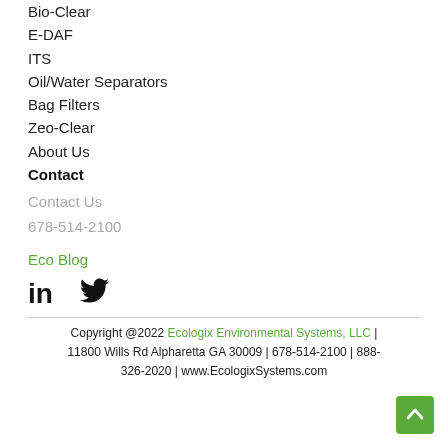Bio-Clear
E-DAF
ITS
Oil/Water Separators
Bag Filters
Zeo-Clear
About Us
Contact
Contact Us
678-514-2100
Eco Blog
[Figure (illustration): LinkedIn and Twitter social media icons]
Copyright @2022 Ecologix Environmental Systems, LLC | 11800 Wills Rd Alpharetta GA 30009 | 678-514-2100 | 888-326-2020 | www.EcologixSystems.com